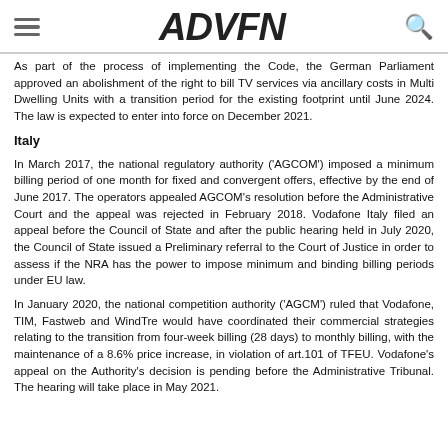ADVFN
As part of the process of implementing the Code, the German Parliament approved an abolishment of the right to bill TV services via ancillary costs in Multi Dwelling Units with a transition period for the existing footprint until June 2024. The law is expected to enter into force on December 2021.
Italy
In March 2017, the national regulatory authority ('AGCOM') imposed a minimum billing period of one month for fixed and convergent offers, effective by the end of June 2017. The operators appealed AGCOM's resolution before the Administrative Court and the appeal was rejected in February 2018. Vodafone Italy filed an appeal before the Council of State and after the public hearing held in July 2020, the Council of State issued a Preliminary referral to the Court of Justice in order to assess if the NRA has the power to impose minimum and binding billing periods under EU law.
In January 2020, the national competition authority ('AGCM') ruled that Vodafone, TIM, Fastweb and WindTre would have coordinated their commercial strategies relating to the transition from four-week billing (28 days) to monthly billing, with the maintenance of a 8.6% price increase, in violation of art.101 of TFEU. Vodafone's appeal on the Authority's decision is pending before the Administrative Tribunal. The hearing will take place in May 2021.